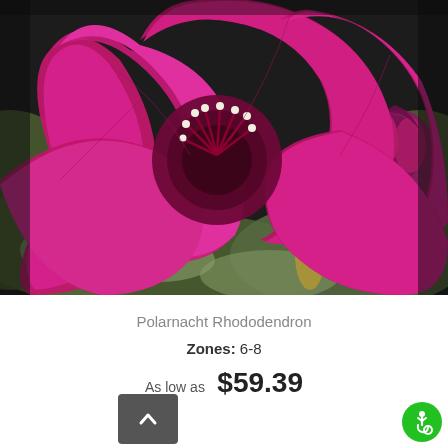[Figure (photo): Close-up photo of vivid magenta/purple rhododendron flowers with dark red center and white stamens, surrounded by dark green leaves with lighter undersides]
Polarnacht Rhododendron
Zones: 6-8
As low as $59.39